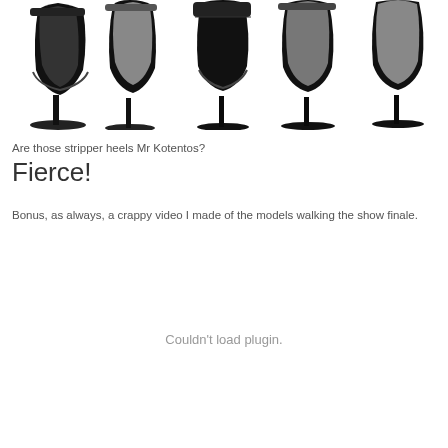[Figure (photo): Row of black high-heeled platform shoes (stripper heels) shown from various angles against a white background]
Are those stripper heels Mr Kotentos?
Fierce!
Bonus, as always, a crappy video I made of the models walking the show finale.
Couldn't load plugin.